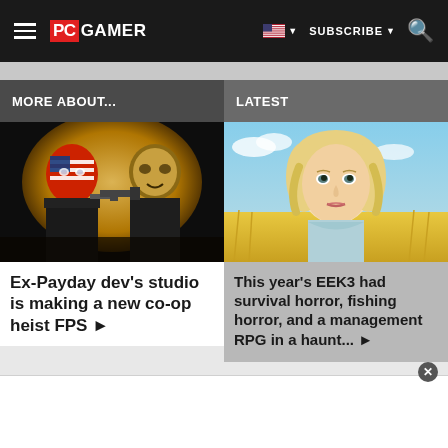PC GAMER — SUBSCRIBE
MORE ABOUT...
LATEST
[Figure (photo): Two masked characters from Payday game holding guns, one wearing American flag mask]
Ex-Payday dev's studio is making a new co-op heist FPS ▶
[Figure (illustration): Illustrated blonde woman in vintage style, standing in a wheat field with blue sky background]
This year's EEK3 had survival horror, fishing horror, and a management RPG in a haunt... ▶